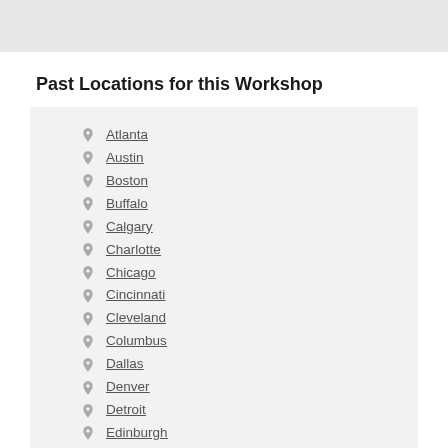[Figure (other): Gray header bar at top of page]
Past Locations for this Workshop
Atlanta
Austin
Boston
Buffalo
Calgary
Charlotte
Chicago
Cincinnati
Cleveland
Columbus
Dallas
Denver
Detroit
Edinburgh
Halifax